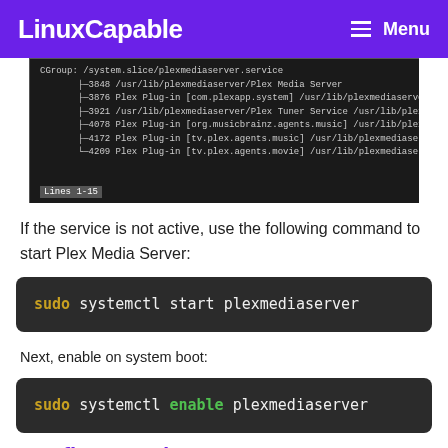LinuxCapable   Menu
[Figure (screenshot): Terminal output showing Plex Media Server systemd service status with process PIDs and service names]
If the service is not active, use the following command to start Plex Media Server:
sudo systemctl start plexmediaserver
Next, enable on system boot:
sudo systemctl enable plexmediaserver
Configure Fedora Server SSH